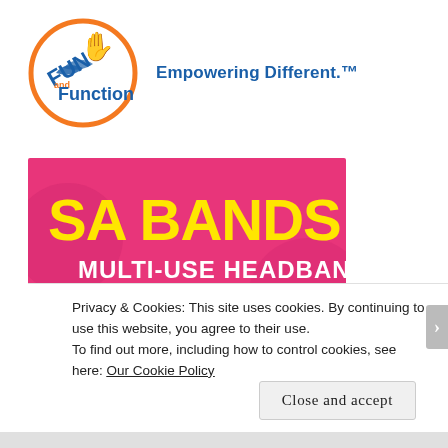[Figure (logo): Fun and Function logo: circular orange-bordered logo with blue and purple text and hand icon]
Empowering Different.™
[Figure (photo): SA Bands multi-use headbands advertisement: pink background with yellow bold text 'SA BANDS', white bold text 'MULTI-USE HEADBANDS', and three young women wearing decorative headbands.]
Privacy & Cookies: This site uses cookies. By continuing to use this website, you agree to their use.
To find out more, including how to control cookies, see here: Our Cookie Policy
Close and accept